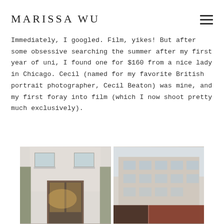MARISSA WU
Immediately, I googled. Film, yikes! But after some obsessive searching the summer after my first year of uni, I found one for $160 from a nice lady in Chicago. Cecil (named for my favorite British portrait photographer, Cecil Beaton) was mine, and my first foray into film (which I now shoot pretty much exclusively).
[Figure (photo): Two side-by-side film photographs: left shows a Parisian shop front with white facade and warm interior lighting; right shows a Parisian building facade with classic architecture.]